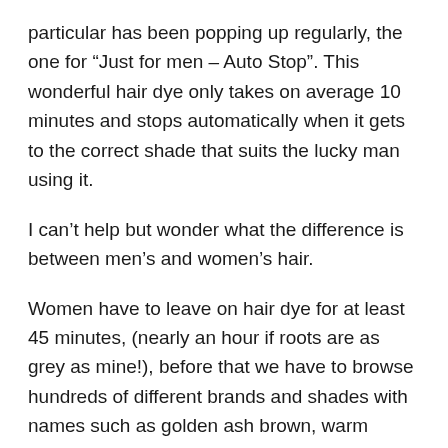particular has been popping up regularly, the one for “Just for men – Auto Stop”. This wonderful hair dye only takes on average 10 minutes and stops automatically when it gets to the correct shade that suits the lucky man using it.
I can’t help but wonder what the difference is between men’s and women’s hair.
Women have to leave on hair dye for at least 45 minutes, (nearly an hour if roots are as grey as mine!), before that we have to browse hundreds of different brands and shades with names such as golden ash brown, warm chestnut, and light golden auburn hoping to match as closely as possible to our original hair colour, (that I don’t really remember). During the development process we have to keep anxiously checking that the colour is as expected not bright red or green, too light or too dark.